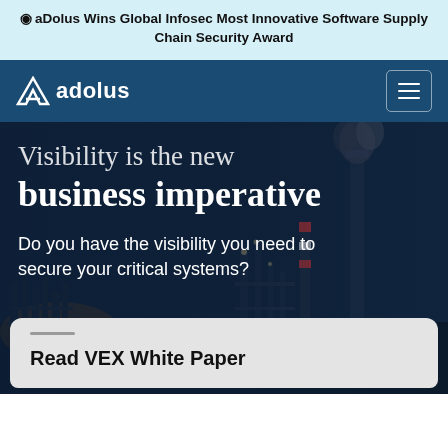aDolus Wins Global Infosec Most Innovative Software Supply Chain Security Award
[Figure (screenshot): adolus website navigation bar with logo on dark blue background and hamburger menu icon]
Visibility is the new business imperative
Do you have the visibility you need to secure your critical systems?
Read VEX White Paper